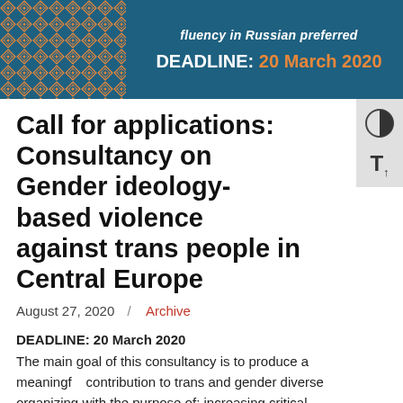fluency in Russian preferred
DEADLINE: 20 March 2020
Call for applications: Consultancy on Gender ideology-based violence against trans people in Central Europe
August 27, 2020 / Archive
DEADLINE: 20 March 2020
The main goal of this consultancy is to produce a meaningful contribution to trans and gender diverse organizing with the purpose of: increasing critical knowledge on how “gender ideology” is used to attack trans and gender diverse people and their human rights in Central Europe; strengthening trans and gender activists’ capacity to organize successfully and to participate meaningfully in broader coalitions against attacks